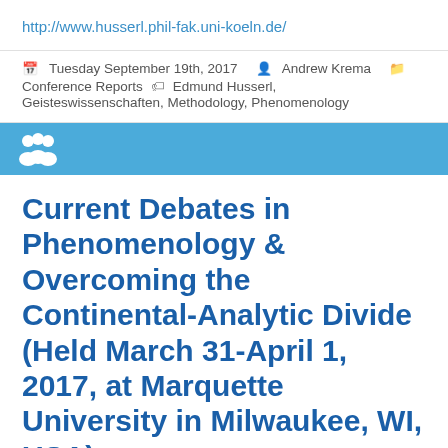http://www.husserl.phil-fak.uni-koeln.de/
Tuesday September 19th, 2017  Andrew Krema  Conference Reports  Edmund Husserl, Geisteswissenschaften, Methodology, Phenomenology
[Figure (illustration): Blue banner with white people/group icon]
Current Debates in Phenomenology & Overcoming the Continental-Analytic Divide (Held March 31-April 1, 2017, at Marquette University in Milwaukee, WI, USA)